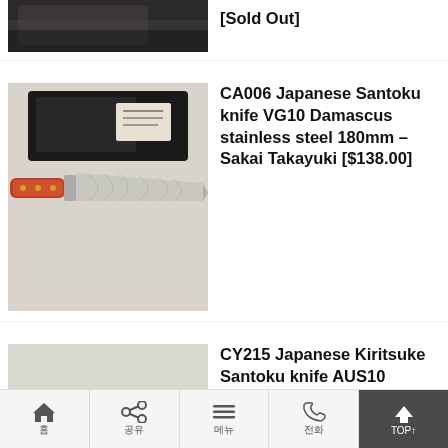[Figure (photo): Partial view of a Japanese knife (top portion cut off), dark background]
[Sold Out]
[Figure (photo): CA006 Japanese Santoku knife with red/orange handle and Damascus patterned blade, in black box]
CA006 Japanese Santoku knife VG10 Damascus stainless steel 180mm – Sakai Takayuki [$138.00]
[Figure (photo): CY215 Japanese Kiritsuke Santoku knife with blue handle and hammered stainless blade on green surface]
CY215 Japanese Kiritsuke Santoku knife AUS10 stainless steel 190mm – Zenpou [$118.00]
홈  공유  메뉴  전화  TOP↑